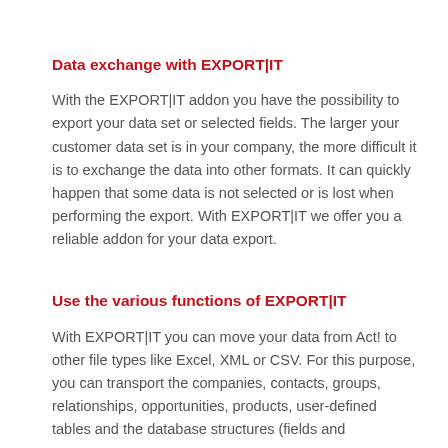Data exchange with EXPORT|IT
With the EXPORT|IT addon you have the possibility to export your data set or selected fields. The larger your customer data set is in your company, the more difficult it is to exchange the data into other formats. It can quickly happen that some data is not selected or is lost when performing the export. With EXPORT|IT we offer you a reliable addon for your data export.
Use the various functions of EXPORT|IT
With EXPORT|IT you can move your data from Act! to other file types like Excel, XML or CSV. For this purpose, you can transport the companies, contacts, groups, relationships, opportunities, products, user-defined tables and the database structures (fields and